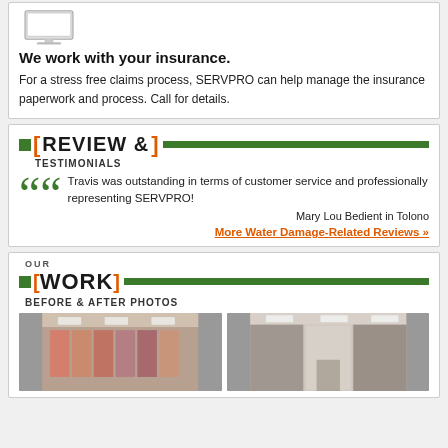[Figure (illustration): Monitor/computer icon]
We work with your insurance.
For a stress free claims process, SERVPRO can help manage the insurance paperwork and process. Call for details.
REVIEW & TESTIMONIALS
Travis was outstanding in terms of customer service and professionally representing SERVPRO!
Mary Lou Bedient in Tolono
More Water Damage-Related Reviews »
OUR WORK BEFORE & AFTER PHOTOS
[Figure (photo): Before photo: retail store interior with clothing racks]
[Figure (photo): After photo: clean empty commercial space interior]